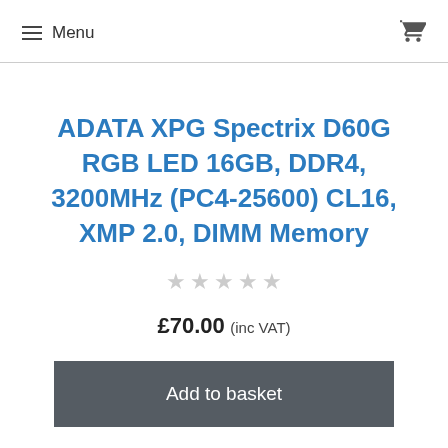Menu
ADATA XPG Spectrix D60G RGB LED 16GB, DDR4, 3200MHz (PC4-25600) CL16, XMP 2.0, DIMM Memory
★★★★★ (empty stars rating)
£70.00 (inc VAT)
Add to basket